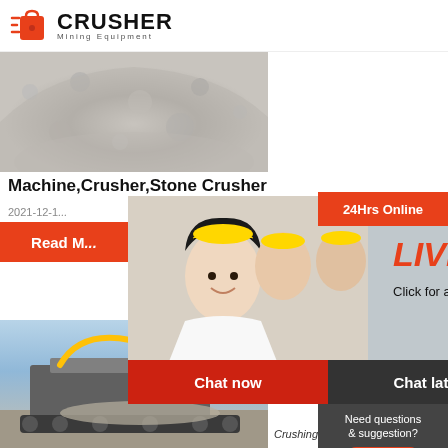[Figure (logo): Crusher Mining Equipment logo with red shopping bag icon and bold CRUSHER text]
[Figure (photo): Close-up photo of crushed gravel/aggregate stone pile]
Machine,Crusher,Stone Crusher
2021-12-1...
Read M...
[Figure (photo): Live Chat popup overlay with construction workers in hard hats and text LIVE CHAT - Click for a Free Consultation, Chat now / Chat later buttons]
24Hrs Online
[Figure (photo): Customer service representative with headset]
[Figure (photo): Photo of crusher/mining equipment machine at work site]
Should... about ... Crusher... Machin...
Crushing plants make...
Need questions & suggestion?
Chat Now
Enquiry
limingjlmofen@sina.com